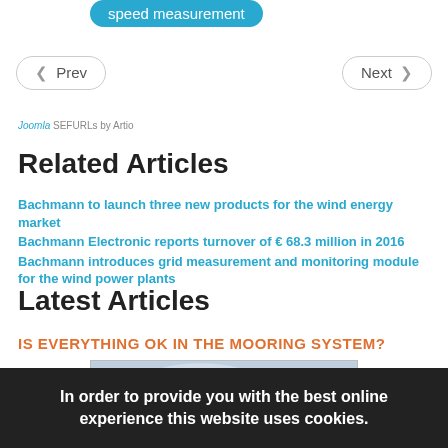speed measurement
◀ Prev
Next ▶
Joomla SEFURLs by Artio
Related Articles
Bachmann to launch three new products for the wind energy market
Bachmann Electronic reports turnover of € 68.3 million in 2016
Bachmann introduces grid measurement and monitoring module for the wind power plants
Latest Articles
IS EVERYTHING OK IN THE MOORING SYSTEM?
[Figure (photo): Wind turbines against a cloudy sky]
In order to provide you with the best online experience this website uses cookies.